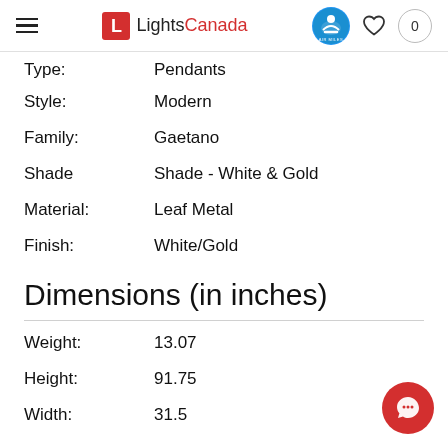LightsCanada — navigation header with logo, Air Miles badge, heart icon, cart (0)
| Label | Value |
| --- | --- |
| Type: | Pendants |
| Style: | Modern |
| Family: | Gaetano |
| Shade | Shade - White & Gold |
| Material: | Leaf Metal |
| Finish: | White/Gold |
Dimensions (in inches)
| Label | Value |
| --- | --- |
| Weight: | 13.07 |
| Height: | 91.75 |
| Width: | 31.5 |